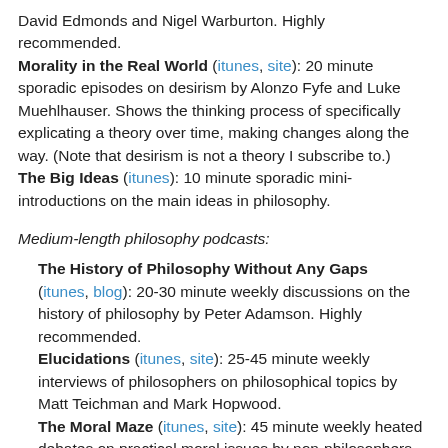David Edmonds and Nigel Warburton. Highly recommended.
Morality in the Real World (itunes, site): 20 minute sporadic episodes on desirism by Alonzo Fyfe and Luke Muehlhauser. Shows the thinking process of specifically explicating a theory over time, making changes along the way. (Note that desirism is not a theory I subscribe to.)
The Big Ideas (itunes): 10 minute sporadic mini-introductions on the main ideas in philosophy.
Medium-length philosophy podcasts:
The History of Philosophy Without Any Gaps (itunes, blog): 20-30 minute weekly discussions on the history of philosophy by Peter Adamson. Highly recommended.
Elucidations (itunes, site): 25-45 minute weekly interviews of philosophers on philosophical topics by Matt Teichman and Mark Hopwood.
The Moral Maze (itunes, site): 45 minute weekly heated debates on practical moral issues by non-philosophers.